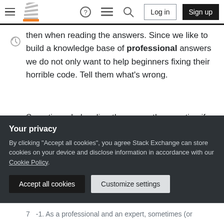Stack Exchange navigation bar with hamburger menu, logo, help, chat, search icons, Log in and Sign up buttons
then when reading the answers. Since we like to build a knowledge base of professional answers we do not only want to help beginners fixing their horrible code. Tell them what's wrong.
Sometimes I also directly answer the question if for instance the OP tells me he/she can't change the database structure to fix the problem. But leaving a note for a better solution is always good.
Share   Follow   edited Aug 13, 2018 at 20:03
Your privacy
By clicking "Accept all cookies", you agree Stack Exchange can store cookies on your device and disclose information in accordance with our Cookie Policy.
Accept all cookies   Customize settings
-1. As a professional and an expert, sometimes (or